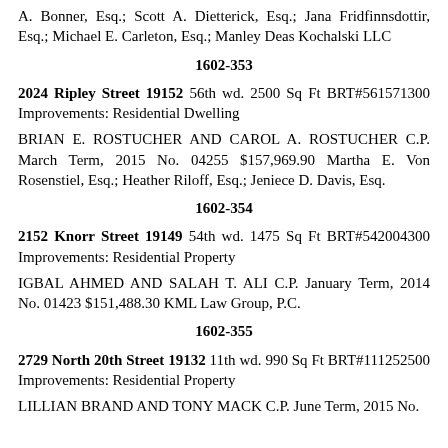A. Bonner, Esq.; Scott A. Dietterick, Esq.; Jana Fridfinnsdottir, Esq.; Michael E. Carleton, Esq.; Manley Deas Kochalski LLC
1602-353
2024 Ripley Street 19152 56th wd. 2500 Sq Ft BRT#561571300 Improvements: Residential Dwelling
BRIAN E. ROSTUCHER AND CAROL A. ROSTUCHER C.P. March Term, 2015 No. 04255 $157,969.90 Martha E. Von Rosenstiel, Esq.; Heather Riloff, Esq.; Jeniece D. Davis, Esq.
1602-354
2152 Knorr Street 19149 54th wd. 1475 Sq Ft BRT#542004300 Improvements: Residential Property
IGBAL AHMED AND SALAH T. ALI C.P. January Term, 2014 No. 01423 $151,488.30 KML Law Group, P.C.
1602-355
2729 North 20th Street 19132 11th wd. 990 Sq Ft BRT#111252500 Improvements: Residential Property
LILLIAN BRAND AND TONY MACK C.P. June Term, 2015 No.